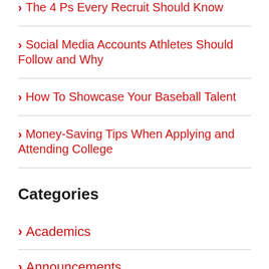The 4 Ps Every Recruit Should Know
Social Media Accounts Athletes Should Follow and Why
How To Showcase Your Baseball Talent
Money-Saving Tips When Applying and Attending College
Categories
Academics
Announcements
Athlete